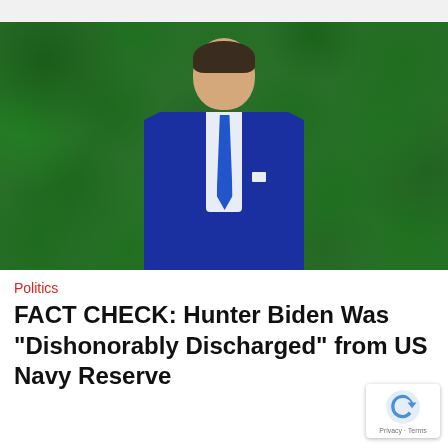[Figure (photo): A man in a navy blue suit with a blue tie standing in front of a green hedge background]
Politics
FACT CHECK: Hunter Biden Was "Dishonorably Discharged" from US Navy Reserve